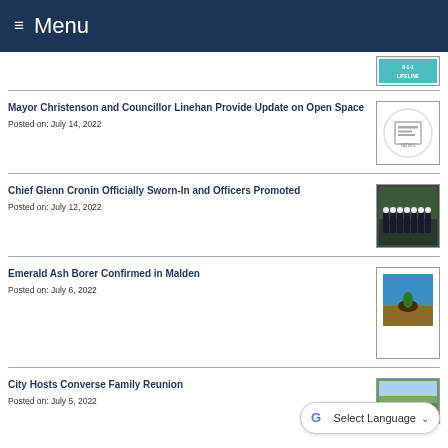Menu
Mayor Christenson and Councillor Linehan Provide Update on Open Space
Posted on: July 14, 2022
Chief Glenn Cronin Officially Sworn-In and Officers Promoted
Posted on: July 12, 2022
Emerald Ash Borer Confirmed in Malden
Posted on: July 6, 2022
City Hosts Converse Family Reunion
Posted on: July 5, 2022